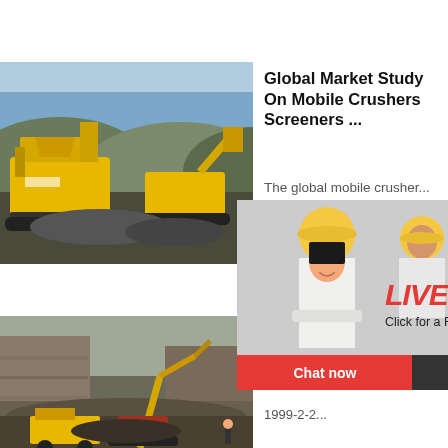[Figure (photo): Mobile crusher/screener machinery on a hillside construction or mining site]
Global Market Study On Mobile Crushers Screeners ...
The global mobile crusher...
[Figure (photo): Live Chat popup with workers in yellow hard hats; buttons: Chat now, Chat later]
[Figure (photo): Right panel: blue sidebar showing crusher equipment, hour online, Click me to chat>>, Enquiry, limingjlmofen]
[Figure (photo): Mining quarry site with excavator and dump truck]
Japan m... why is ... to succ...
1999-2-2...